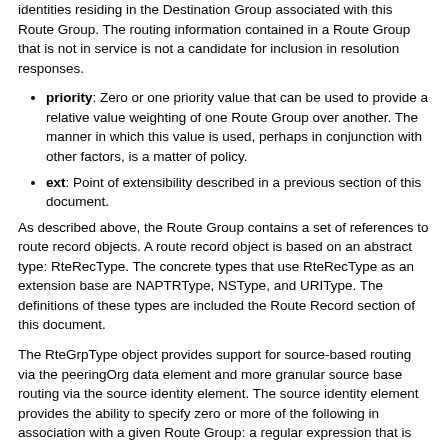identities residing in the Destination Group associated with this Route Group. The routing information contained in a Route Group that is not in service is not a candidate for inclusion in resolution responses.
priority: Zero or one priority value that can be used to provide a relative value weighting of one Route Group over another. The manner in which this value is used, perhaps in conjunction with other factors, is a matter of policy.
ext: Point of extensibility described in a previous section of this document.
As described above, the Route Group contains a set of references to route record objects. A route record object is based on an abstract type: RteRecType. The concrete types that use RteRecType as an extension base are NAPTRType, NSType, and URIType. The definitions of these types are included the Route Record section of this document.
The RteGrpType object provides support for source-based routing via the peeringOrg data element and more granular source base routing via the source identity element. The source identity element provides the ability to specify zero or more of the following in association with a given Route Group: a regular expression that is matched against the resolution client IP address, a regular expression that is matched against the root domain name(s), and/or a regular expression that is matched against the calling party URI(s). The result will be that, after identifying the visible Route Groups whose associated Destination Group(s) contain the lookup key being queried and also consisting in the source in association...